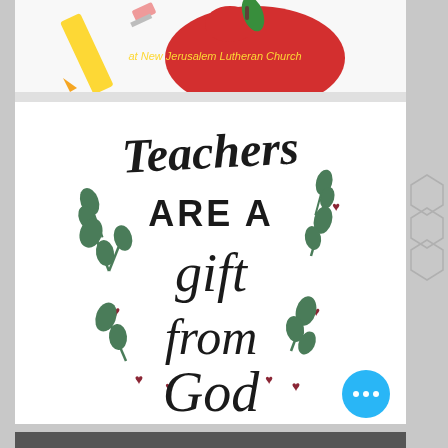[Figure (illustration): Top portion of an educational image showing a pencil and red apple with text 'at New Jerusalem Lutheran Church' in yellow cursive on a red apple background]
[Figure (illustration): Decorative hand-lettered quote illustration reading 'Teachers are a gift from God' with green botanical leaf sprigs and small dark red heart shapes decorating the text]
[Figure (photo): Bottom strip of a photo, partially visible]